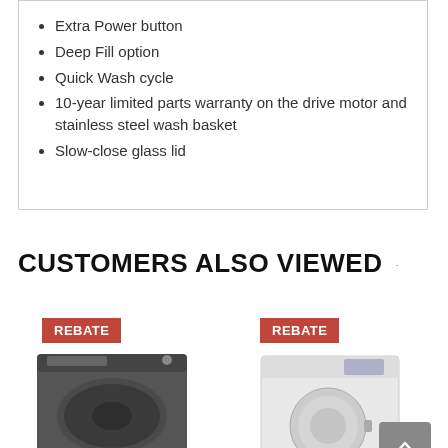Extra Power button
Deep Fill option
Quick Wash cycle
10-year limited parts warranty on the drive motor and stainless steel wash basket
Slow-close glass lid
CUSTOMERS ALSO VIEWED
[Figure (photo): Dark-colored top-load washing machine with REBATE badge]
[Figure (photo): White front-load dryer with REBATE badge and back-to-top button overlay]